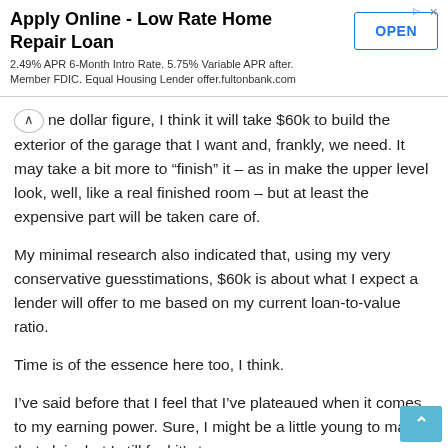[Figure (other): Advertisement banner: Apply Online - Low Rate Home Repair Loan. 2.49% APR 6-Month Intro Rate. 5.75% Variable APR after. Member FDIC. Equal Housing Lender offer.fultonbank.com. With an OPEN button.]
ne dollar figure, I think it will take $60k to build the exterior of the garage that I want and, frankly, we need. It may take a bit more to “finish” it – as in make the upper level look, well, like a real finished room – but at least the expensive part will be taken care of.
My minimal research also indicated that, using my very conservative guesstimations, $60k is about what I expect a lender will offer to me based on my current loan-to-value ratio.
Time is of the essence here too, I think.
I’ve said before that I feel that I’ve plateaued when it comes to my earning power. Sure, I might be a little young to make that claim but I still feel it’s true.